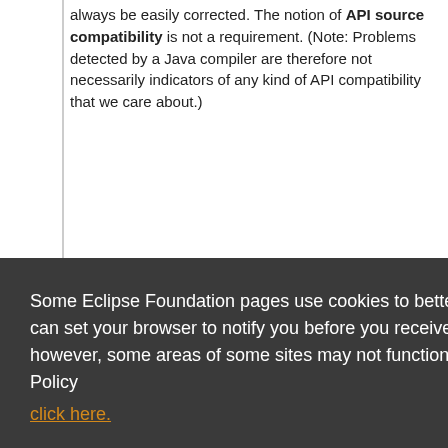always be easily corrected. The notion of API source compatibility is not a requirement. (Note: Problems detected by a Java compiler are therefore not necessarily indicators of any kind of API compatibility that we care about.)
Some Eclipse Foundation pages use cookies to better serve you when you return to the site. You can set your browser to notify you before you receive a cookie or turn off cookies. If you do so, however, some areas of some sites may not function properly. To read Eclipse Foundation Privacy Policy click here.
Decline
Allow cookies
The most common situation is an API that is specified by one party, implemented by a separate second